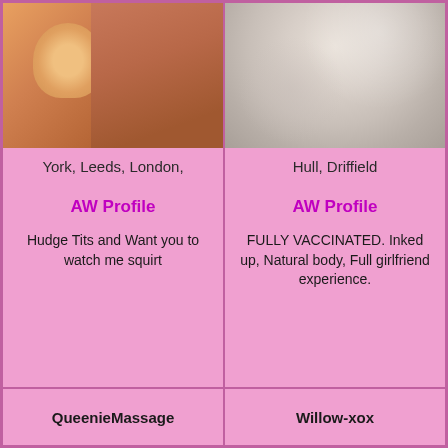[Figure (photo): Close-up photo, warm skin tones]
York, Leeds, London,
AW Profile
Hudge Tits and Want you to watch me squirt
[Figure (photo): Close-up photo, light beige textured surface]
Hull, Driffield
AW Profile
FULLY VACCINATED. Inked up, Natural body, Full girlfriend experience.
QueenieMassage
Willow-xox